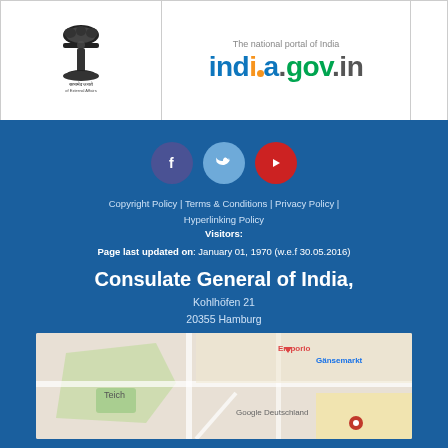[Figure (logo): India Ministry of External Affairs emblem with Ashoka Pillar and text in Hindi and English]
[Figure (logo): india.gov.in - The national portal of India logo]
[Figure (infographic): Social media icons: Facebook (blue circle), Twitter (light blue circle), YouTube (red circle)]
Copyright Policy | Terms & Conditions | Privacy Policy | Hyperlinking Policy
Visitors:
Page last updated on: January 01, 1970 (w.e.f 30.05.2016)
Consulate General of India,
Kohlhöfen 21
20355 Hamburg
[Figure (map): Google Maps showing location near Gänsemarkt, Hamburg with Teich park area visible]